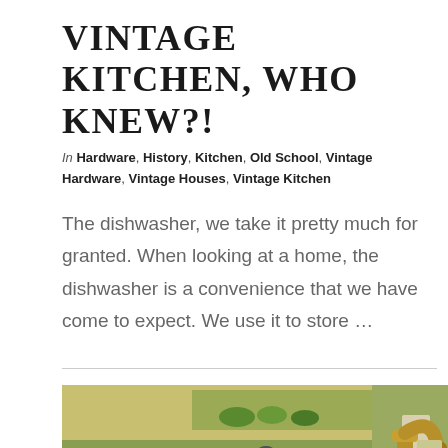VINTAGE KITCHEN, WHO KNEW?!
In Hardware, History, Kitchen, Old School, Vintage Hardware, Vintage Houses, Vintage Kitchen
The dishwasher, we take it pretty much for granted. When looking at a home, the dishwasher is a convenience that we have come to expect. We use it to store …
[Figure (photo): Vintage kitchen scene showing an old white stove with burners, a gray enamel coffee pot on top, fruit/vegetable bowl, and a gold/brass kitchen faucet against green walls]